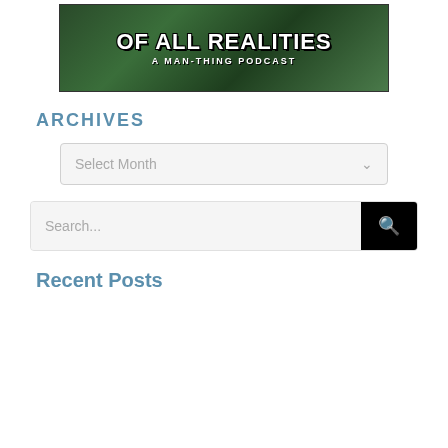[Figure (illustration): Podcast banner image with dark green jungle background, bold white stylized text reading 'OF ALL REALITIES A MAN-THING PODCAST']
ARCHIVES
Select Month
Search...
Recent Posts